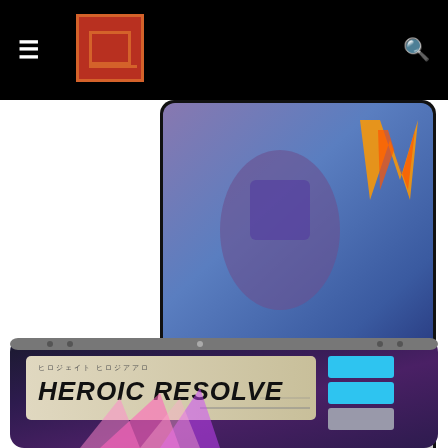Navigation bar with hamburger menu, logo, and search icon
[Figure (photo): Trading card image: ACTION card, Wave 4, C 025/064. Text reads: Choose one of your characters. It gets +3 while attacking in alt mode this turn. Card has robot/action artwork in blue and purple tones with orange flame detail.]
preview article (Wreck 'n Rule)
[Figure (photo): Trading card image: HEROIC RESOLVE card. Card has Japanese text at top, bold title HEROIC RESOLVE, blue power boxes on right side, and colorful purple/pink energy beam artwork at bottom.]